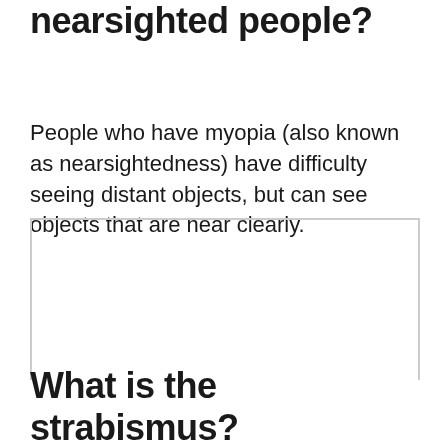nearsighted people?
People who have myopia (also known as nearsightedness) have difficulty seeing distant objects, but can see objects that are near clearly.
[Figure (other): Empty bordered box region, likely placeholder for an image or diagram related to nearsightedness/myopia]
What is the strabismus?